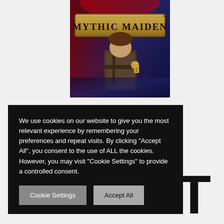[Figure (screenshot): Mythic Maiden game title image — a wooden sign reading 'MYTHIC MAIDEN' with a fantasy/dark theme character below it, set against a dark blue-purple background.]
We use cookies on our website to give you the most relevant experience by remembering your preferences and repeat visits. By clicking "Accept All", you consent to the use of ALL the cookies. However, you may visit "Cookie Settings" to provide a controlled consent.
Cookie Settings   Accept All